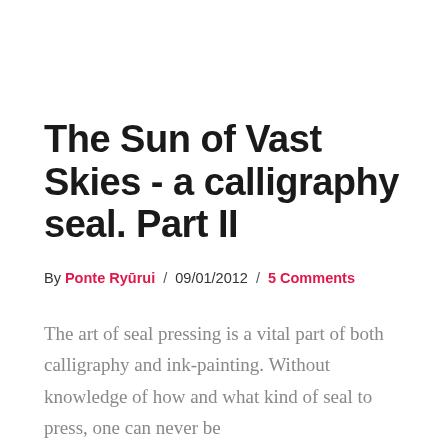The Sun of Vast Skies - a calligraphy seal. Part II
By Ponte Ryūrui / 09/01/2012 / 5 Comments
The art of seal pressing is a vital part of both calligraphy and ink-painting. Without knowledge of how and what kind of seal to press, one can never be